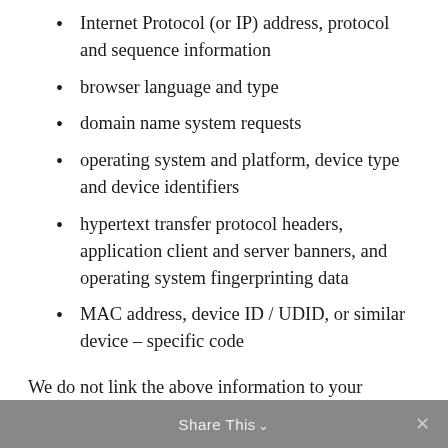Internet Protocol (or IP) address, protocol and sequence information
browser language and type
domain name system requests
operating system and platform, device type and device identifiers
hypertext transfer protocol headers, application client and server banners, and operating system fingerprinting data
MAC address, device ID / UDID, or similar device – specific code
We do not link the above information to your identity or a user account for use in connection with the Web Properties (your “User Account”), unless you enter the site with a User Account or are logged into your User Account at the time you visit the site.
Share This